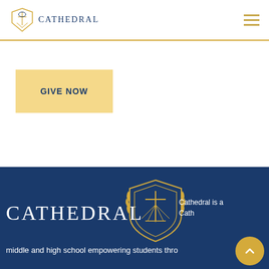Cathedral
[Figure (logo): Cathedral school logo with shield emblem in header]
[Figure (other): Hamburger menu icon (three horizontal lines)]
GIVE NOW
[Figure (logo): Cathedral school crest/shield logo in gold outline on blue background]
Cathedral
Cathedral is a Cath middle and high school empowering students thro